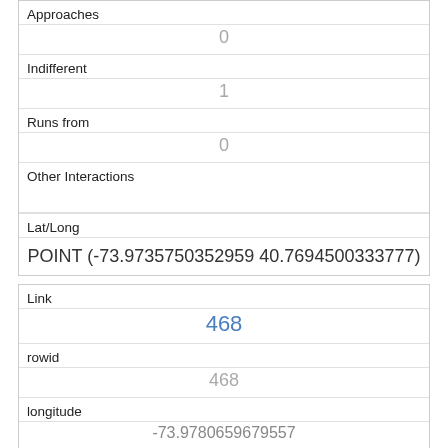| Field | Value |
| --- | --- |
| Approaches | 0 |
| Indifferent | 1 |
| Runs from | 0 |
| Other Interactions |  |
| Lat/Long | POINT (-73.9735750352959 40.7694500333777) |
| Field | Value |
| --- | --- |
| Link | 468 |
| rowid | 468 |
| longitude | -73.9780659679557 |
| latitude | 40.7672382282781 |
| Unique Squirrel ID |  |